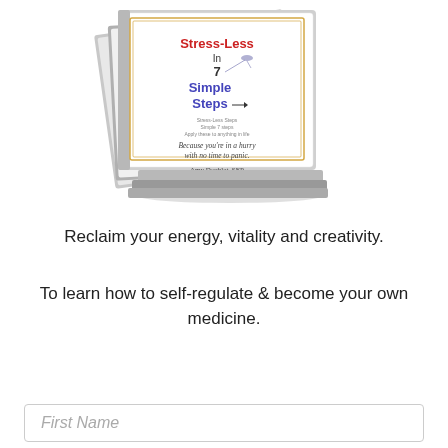[Figure (illustration): A stack of books/booklets showing a cover titled 'Stress-Less In 7 Simple Steps' with subtitle 'Because you're in a hurry with no time to panic.' by Amy Doublet, SEP, with a decorative border and small hummingbird illustration.]
Reclaim your energy, vitality and creativity.
To learn how to self-regulate & become your own medicine.
First Name